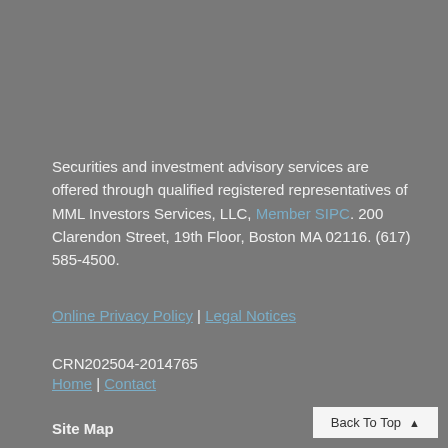Securities and investment advisory services are offered through qualified registered representatives of MML Investors Services, LLC, Member SIPC. 200 Clarendon Street, 19th Floor, Boston MA 02116. (617) 585-4500.
CRN202504-2014765
Online Privacy Policy | Legal Notices
Home | Contact
Site Map
Back To Top